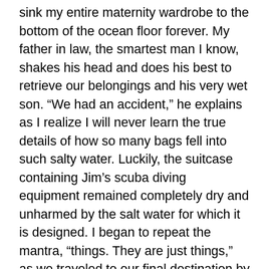sink my entire maternity wardrobe to the bottom of the ocean floor forever. My father in law, the smartest man I know, shakes his head and does his best to retrieve our belongings and his very wet son. “We had an accident,” he explains as I realize I will never learn the true details of how so many bags fell into such salty water. Luckily, the suitcase containing Jim’s scuba diving equipment remained completely dry and unharmed by the salt water for which it is designed. I began to repeat the mantra, “things. They are just things,” as we traveled to our final destination by boat, except the words, “MY FAVORITE,” kept getting directly in the way.
Upon inspection, only everything is soaked and mostly ruined. (Rest permanately in peace: all of my makeup). The rest of the things only require dozens of loads of laundry to